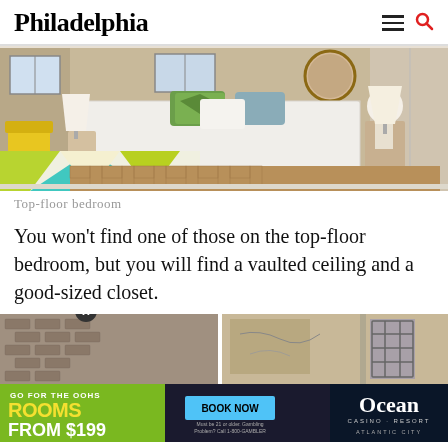Philadelphia
[Figure (photo): Top-floor bedroom with white bed, colorful pillows, round mirror, parquet wood floor, yellow chair in corner, geometric rug]
Top-floor bedroom
You won't find one of those on the top-floor bedroom, but you will find a vaulted ceiling and a good-sized closet.
[Figure (photo): Two photos showing building exterior/interior rooms in rough condition]
[Figure (infographic): Advertisement: GO FOR THE OOHS ROOMS FROM $199 BOOK NOW Ocean Casino Resort Atlantic City]